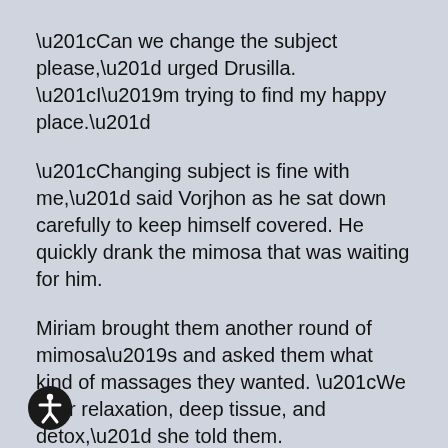“Can we change the subject please,” urged Drusilla. “I’m trying to find my happy place.”
“Changing subject is fine with me,” said Vorjhon as he sat down carefully to keep himself covered. He quickly drank the mimosa that was waiting for him.
Miriam brought them another round of mimosa’s and asked them what kind of massages they wanted. “We offer relaxation, deep tissue, and detox,” she told them.
“Diesa will have the detox,” they all said in unison.
[Figure (illustration): Accessibility icon: a circular black button with a white figure of a person with arms outstretched, representing accessibility/wheelchair access symbol]